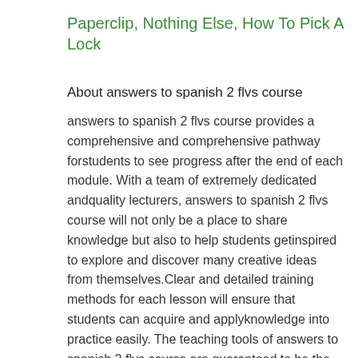Paperclip, Nothing Else, How To Pick A Lock
About answers to spanish 2 flvs course
answers to spanish 2 flvs course provides a comprehensive and comprehensive pathway forstudents to see progress after the end of each module. With a team of extremely dedicated andquality lecturers, answers to spanish 2 flvs course will not only be a place to share knowledge but also to help students getinspired to explore and discover many creative ideas from themselves.Clear and detailed training methods for each lesson will ensure that students can acquire and applyknowledge into practice easily. The teaching tools of answers to spanish 2 flvs course are guaranteed to be the most completeand intuitive.